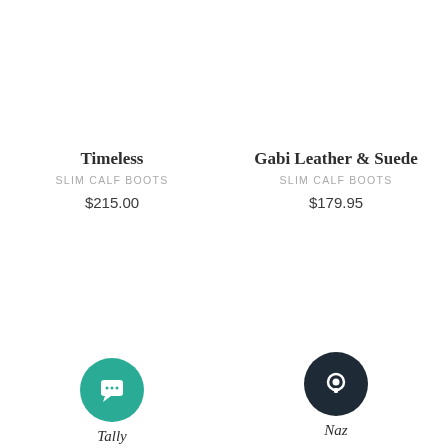Timeless
SLIM CALF BOOTS
$215.00
Gabi Leather & Suede
SLIM CALF BOOTS
$179.95
[Figure (illustration): Teal circular chat bubble icon with speech bubble symbol]
Tally
[Figure (illustration): Dark navy circular icon with circular chat bubble symbol (Intercom style)]
Naz